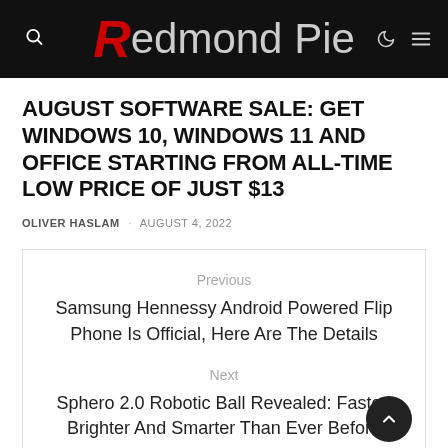Redmond Pie
AUGUST SOFTWARE SALE: GET WINDOWS 10, WINDOWS 11 AND OFFICE STARTING FROM ALL-TIME LOW PRICE OF JUST $13
OLIVER HASLAM · AUGUST 4, 2022
Previous
Samsung Hennessy Android Powered Flip Phone Is Official, Here Are The Details
Next
Sphero 2.0 Robotic Ball Revealed: Faster, Brighter And Smarter Than Ever Before